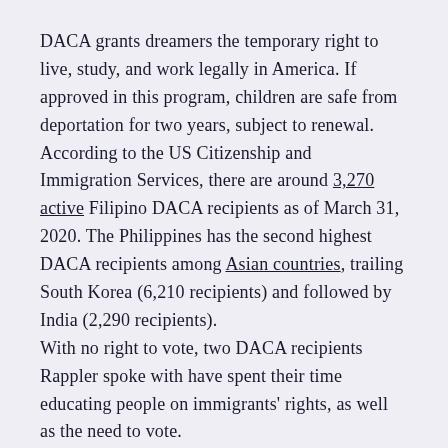DACA grants dreamers the temporary right to live, study, and work legally in America. If approved in this program, children are safe from deportation for two years, subject to renewal.
According to the US Citizenship and Immigration Services, there are around 3,270 active Filipino DACA recipients as of March 31, 2020. The Philippines has the second highest DACA recipients among Asian countries, trailing South Korea (6,210 recipients) and followed by India (2,290 recipients).
With no right to vote, two DACA recipients Rappler spoke with have spent their time educating people on immigrants' rights, as well as the need to vote.